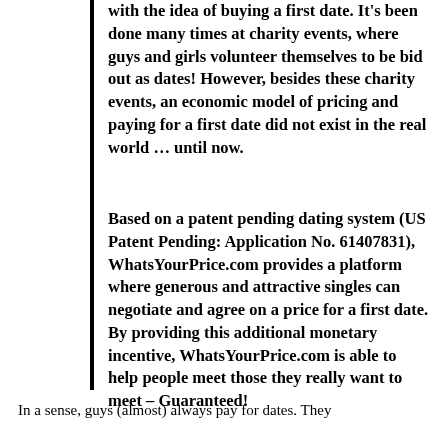with the idea of buying a first date. It's been done many times at charity events, where guys and girls volunteer themselves to be bid out as dates! However, besides these charity events, an economic model of pricing and paying for a first date did not exist in the real world ... until now.
Based on a patent pending dating system (US Patent Pending: Application No. 61407831), WhatsYourPrice.com provides a platform where generous and attractive singles can negotiate and agree on a price for a first date. By providing this additional monetary incentive, WhatsYourPrice.com is able to help people meet those they really want to meet – Guaranteed!
In a sense, guys (almost) always pay for dates. They